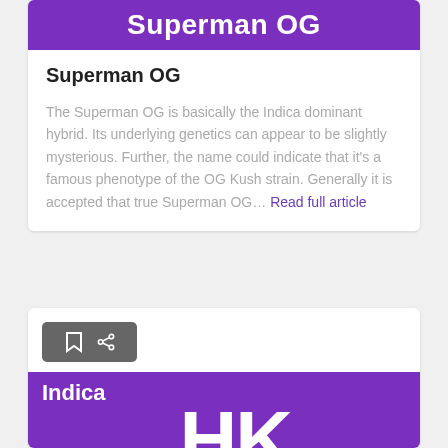[Figure (other): Purple banner with white bold text 'Superman OG' partially visible at top]
Superman OG
The Superman OG is basically the Indica dominant hybrid. Its underlying genetics can appear to be slightly mysterious. Further, the name could indicate that it's a famous phenotype of the OG Kush strain. Generally it is accepted that true Superman OG... Read full article
[Figure (other): Second card with bookmark/share toolbar buttons and purple banner showing 'Indica' label with large HK letters logo at bottom]